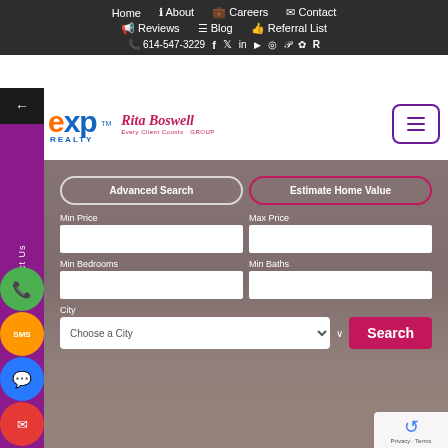Home | About | Careers | Contact | Reviews | Blog | Referral List | 614-547-3229
[Figure (logo): eXp Realty logo and Rita Boswell Group logo]
Advanced Search
Estimate Home Value
Min Price
Max Price
Min Bedrooms
Min Baths
City
Choose a City
Search
Contact Us